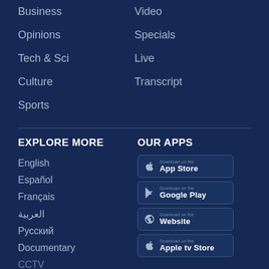Business
Video
Opinions
Specials
Tech & Sci
Live
Culture
Transcript
Sports
EXPLORE MORE
OUR APPS
English
Español
Français
العربية
Русский
Documentary
CCTV
[Figure (other): Download on the App Store badge]
[Figure (other): Download on the Google Play badge]
[Figure (other): Download on the Website badge]
[Figure (other): Download on the Apple tv Store badge]